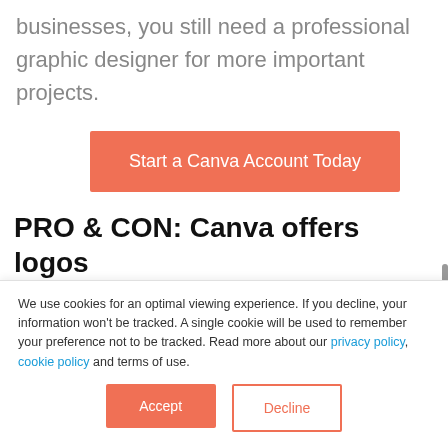businesses, you still need a professional graphic designer for more important projects.
Start a Canva Account Today
PRO & CON: Canva offers logos
We use cookies for an optimal viewing experience. If you decline, your information won't be tracked. A single cookie will be used to remember your preference not to be tracked. Read more about our privacy policy, cookie policy and terms of use.
Accept
Decline